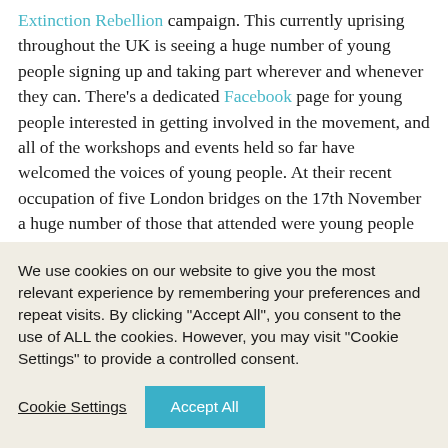Extinction Rebellion campaign. This currently uprising throughout the UK is seeing a huge number of young people signing up and taking part wherever and whenever they can. There's a dedicated Facebook page for young people interested in getting involved in the movement, and all of the workshops and events held so far have welcomed the voices of young people. At their recent occupation of five London bridges on the 17th November a huge number of those that attended were young people sporting banners and
We use cookies on our website to give you the most relevant experience by remembering your preferences and repeat visits. By clicking "Accept All", you consent to the use of ALL the cookies. However, you may visit "Cookie Settings" to provide a controlled consent.